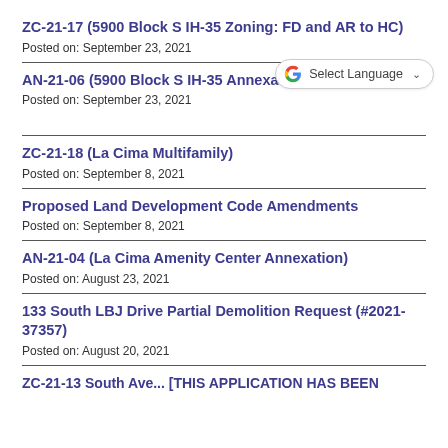ZC-21-17 (5900 Block S IH-35 Zoning: FD and AR to HC)
Posted on: September 23, 2021
AN-21-06 (5900 Block S IH-35 Annexation)
Posted on: September 23, 2021
ZC-21-18 (La Cima Multifamily)
Posted on: September 8, 2021
Proposed Land Development Code Amendments
Posted on: September 8, 2021
AN-21-04 (La Cima Amenity Center Annexation)
Posted on: August 23, 2021
133 South LBJ Drive Partial Demolition Request (#2021-37357)
Posted on: August 20, 2021